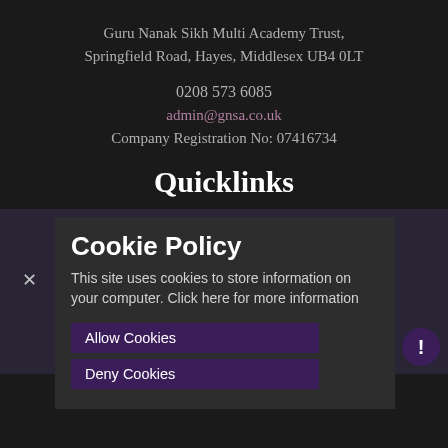Guru Nanak Sikh Multi Academy Trust, Springfield Road, Hayes, Middlesex UB4 0LT
0208 573 6085
admin@gnsa.co.uk
Company Registration No: 07416734
Quicklinks
Coronavirus
Cookie Policy
This site uses cookies to store information on your computer. Click here for more information
Allow Cookies
Deny Cookies